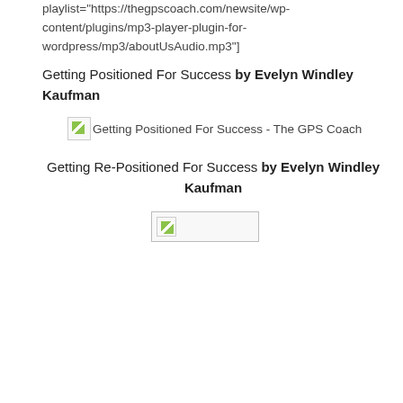playlist="https://thegpscoach.com/newsite/wp-content/plugins/mp3-player-plugin-for-wordpress/mp3/aboutUsAudio.mp3"]
Getting Positioned For Success by Evelyn Windley Kaufman
[Figure (other): Broken image placeholder for Getting Positioned For Success - The GPS Coach book cover]
Getting Re-Positioned For Success by Evelyn Windley Kaufman
[Figure (other): Broken image placeholder for second book cover]